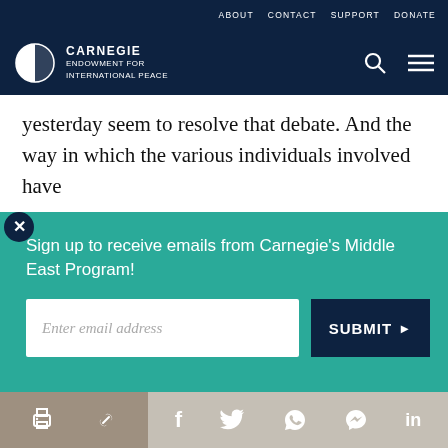ABOUT   CONTACT   SUPPORT   DONATE
[Figure (logo): Carnegie Endowment for International Peace logo with circular half-filled globe icon and white text]
yesterday seem to resolve that debate. And the way in which the various individuals involved have
Sign up to receive emails from Carnegie's Middle East Program!
Enter email address
SUBMIT ▶
though a strong challenge on legal grounds is still
Share icons: print, link, facebook, twitter, whatsapp, messenger, linkedin